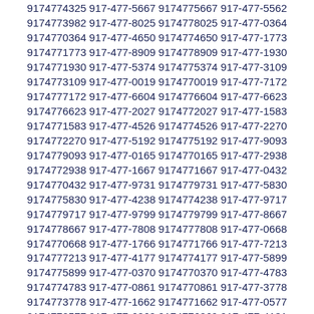9174774325 917-477-5667 9174775667 917-477-5562 9174773982 917-477-8025 9174778025 917-477-0364 9174770364 917-477-4650 9174774650 917-477-1773 9174771773 917-477-8909 9174778909 917-477-1930 9174771930 917-477-5374 9174775374 917-477-3109 9174773109 917-477-0019 9174770019 917-477-7172 9174777172 917-477-6604 9174776604 917-477-6623 9174776623 917-477-2027 9174772027 917-477-1583 9174771583 917-477-4526 9174774526 917-477-2270 9174772270 917-477-5192 9174775192 917-477-9093 9174779093 917-477-0165 9174770165 917-477-2938 9174772938 917-477-1667 9174771667 917-477-0432 9174770432 917-477-9731 9174779731 917-477-5830 9174775830 917-477-4238 9174774238 917-477-9717 9174779717 917-477-9799 9174779799 917-477-8667 9174778667 917-477-7808 9174777808 917-477-0668 9174770668 917-477-1766 9174771766 917-477-7213 9174777213 917-477-4177 9174774177 917-477-5899 9174775899 917-477-0370 9174770370 917-477-4783 9174774783 917-477-0861 9174770861 917-477-3778 9174773778 917-477-1662 9174771662 917-477-0577 9174770577 917-477-6269 9174776269 917-477-4131 9174774131 917-477-2309 9174772309 917-477-6172 9174776172 917-477-9625 9174779625 917-477-0338 9174770338 917-477-7715 9174777715 917-477-0840 9174770840 917-477-6002 9174776002 917-477-0727